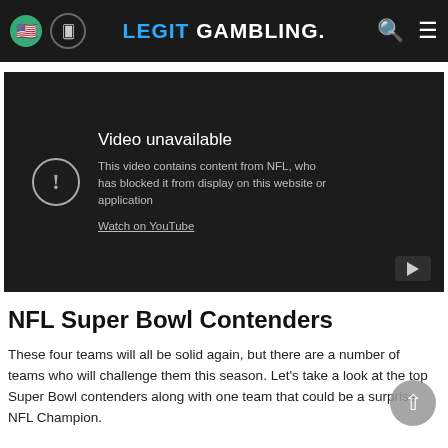LEGIT GAMBLING.
[Figure (screenshot): YouTube embedded video player showing 'Video unavailable' message. Text: 'This video contains content from NFL, who has blocked it from display on this website or application. Watch on YouTube']
NFL Super Bowl Contenders
These four teams will all be solid again, but there are a number of teams who will challenge them this season. Let's take a look at the top Super Bowl contenders along with one team that could be a surprise NFL Champion.